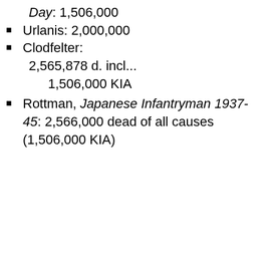Day: 1,506,000
Urlanis: 2,000,000
Clodfelter: 2,565,878 d. incl... 1,506,000 KIA
Rottman, Japanese Infantryman 1937-45: 2,566,000 dead of all causes (1,506,000 KIA)